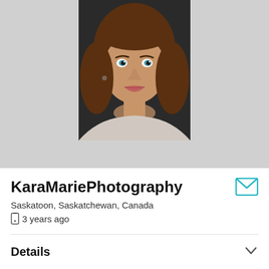[Figure (photo): Profile photo of a young woman with brown hair and blue eyes, resting her chin on her hands, portrait style, centered on a grey background]
KaraMariePhotography
Saskatoon, Saskatchewan, Canada
3 years ago
Details